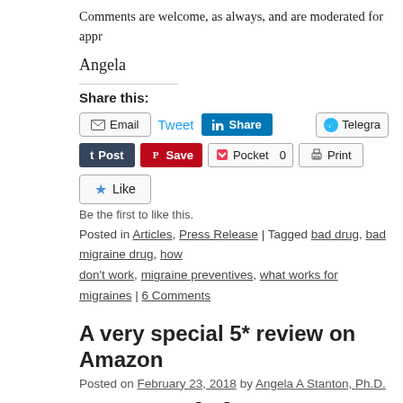Comments are welcome, as always, and are moderated for appr
Angela
Share this:
[Figure (other): Social sharing buttons: Email, Tweet, LinkedIn Share, Telegram, Tumblr Post, Pinterest Save, Pocket (0), Print, Like]
Be the first to like this.
Posted in Articles, Press Release | Tagged bad drug, bad migraine drug, how don't work, migraine preventives, what works for migraines | 6 Comments
A very special 5* review on Amazon
Posted on February 23, 2018 by Angela A Stanton, Ph.D.
A Special 5* Review